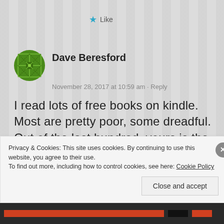★ Like
Dave Beresford
November 28, 2017 at 10:59 am · Reply
I read lots of free books on kindle. Most are pretty poor, some dreadful. Out of the last hundred, yours is the second best. Good characters,plot and quite well written. Really enjoyed it.
Privacy & Cookies: This site uses cookies. By continuing to use this website, you agree to their use.
To find out more, including how to control cookies, see here: Cookie Policy
Close and accept